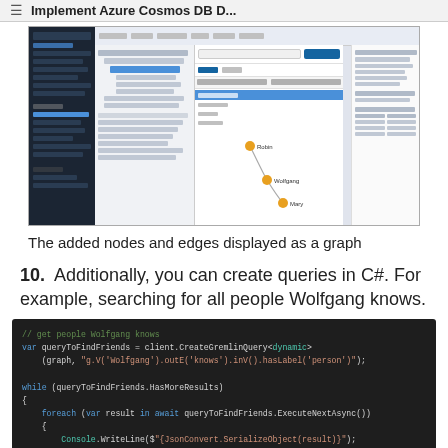Implement Azure Cosmos DB D...
[Figure (screenshot): Azure Cosmos DB Data Explorer screenshot showing a graph visualization with nodes (Robin, Wolfgang, Mary) connected by edges, with a tree panel on the left showing database structure and a properties panel on the right.]
The added nodes and edges displayed as a graph
10.  Additionally, you can create queries in C#. For example, searching for all people Wolfgang knows.
[Figure (screenshot): C# code snippet on dark background showing Gremlin query code: // get people Wolfgang knows, var queryToFindFriends = client.CreateGremlinQuery<dynamic>(graph, "g.V('Wolfgang').outE('knows').inV().hasLabel('person')"); while (queryToFindFriends.HasMoreResults) { foreach (var result in await queryToFindFriends.ExecuteNextAsync()) { Console.WriteLine($"{JsonConvert.SerializeObject(result)}"); } }]